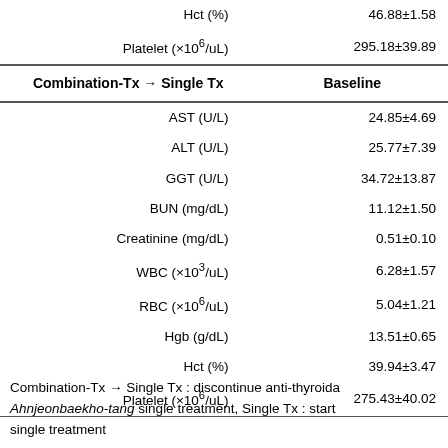| Combination-Tx → Single Tx | Baseline |
| --- | --- |
| Hct (%) | 46.88±1.58 |
| Platelet (×10⁶/uL) | 295.18±39.89 |
| AST (U/L) | 24.85±4.69 |
| ALT (U/L) | 25.77±7.39 |
| GGT (U/L) | 34.72±13.87 |
| BUN (mg/dL) | 11.12±1.50 |
| Creatinine (mg/dL) | 0.51±0.10 |
| WBC (×10³/uL) | 6.28±1.57 |
| RBC (×10⁶/uL) | 5.04±1.21 |
| Hgb (g/dL) | 13.51±0.65 |
| Hct (%) | 39.94±3.47 |
| Platelet (×10⁶/uL) | 275.43±40.02 |
Combination-Tx → Single Tx : discontinue anti-thyroidal drug, Ahnjeonbaekho-tang single treatment, Single Tx : start single treatment